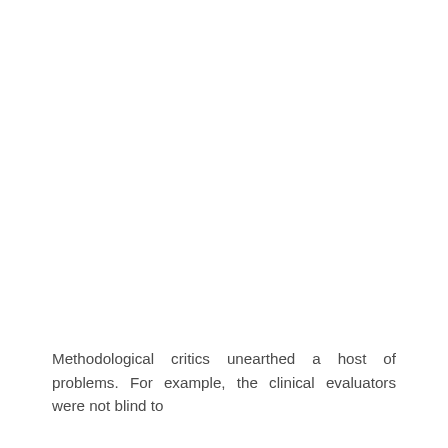Methodological critics unearthed a host of problems. For example, the clinical evaluators were not blind to